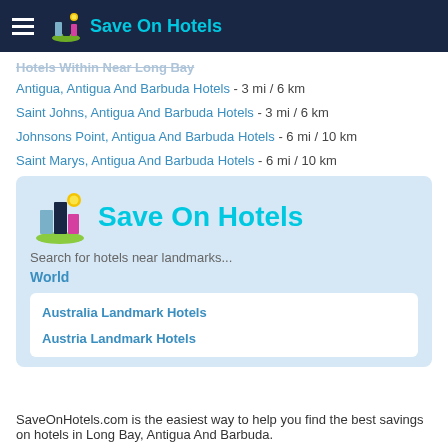Save On Hotels
Hotels Within Near Long Bay
Antigua, Antigua And Barbuda Hotels - 3 mi / 6 km
Saint Johns, Antigua And Barbuda Hotels - 3 mi / 6 km
Johnsons Point, Antigua And Barbuda Hotels - 6 mi / 10 km
Saint Marys, Antigua And Barbuda Hotels - 6 mi / 10 km
[Figure (logo): Save On Hotels logo with colorful building icons and cyan text]
Search for hotels near landmarks...
World
Australia Landmark Hotels
Austria Landmark Hotels
SaveOnHotels.com is the easiest way to help you find the best savings on hotels in Long Bay, Antigua And Barbuda.